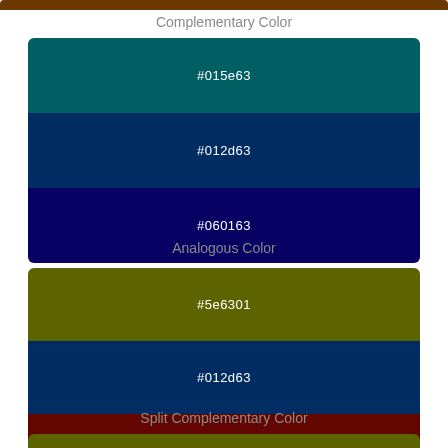[Figure (infographic): Top brown color bar strip]
Complementary Color
[Figure (infographic): Complementary color swatches: #015e63 (teal), #012d63 (dark blue), #060163 (navy blue)]
Analogous Color
[Figure (infographic): Analogous color swatches: #5e6301 (olive green), #012d63 (dark blue), #630601 (dark red)]
Split Complementary Color
[Figure (infographic): Partial bottom olive green swatch bar]